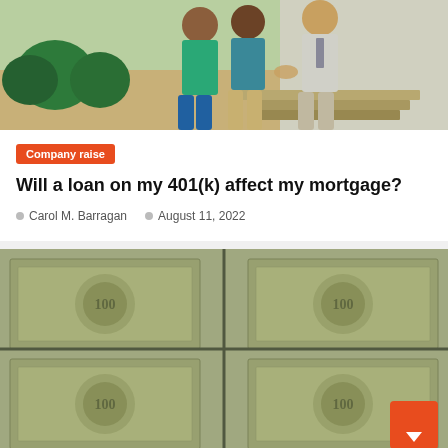[Figure (photo): Two people (in teal/blue clothes) meeting with a professional in a light suit outdoors near a building with greenery]
Company raise
Will a loan on my 401(k) affect my mortgage?
Carol M. Barragan   August 11, 2022
[Figure (photo): Close-up of stacked US hundred dollar bills arranged in a cross/grid pattern]